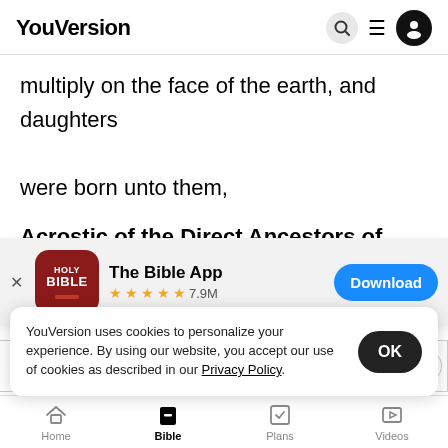YouVersion
multiply on the face of the earth, and daughters were born unto them,
Acrostic of the Direct Ancestors of Yeshua (he is Salvation) from Adam to Noah
[Figure (screenshot): App download banner for The Bible App with Holy Bible icon, 5 stars rating, 7.9M reviews, and Download button]
|  | Name | Meaning |  |
| --- | --- | --- | --- |
|  | Appointed |  |  |
|  | Enosh |  |  |
|  | Kenan |  |  |
YouVersion uses cookies to personalize your experience. By using our website, you accept our use of cookies as described in our Privacy Policy.
Home | Bible | Plans | Videos